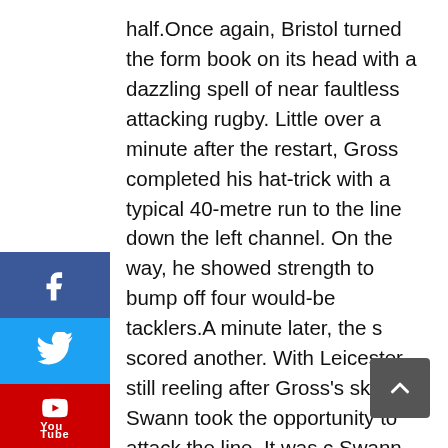half.Once again, Bristol turned the form book on its head with a dazzling spell of near faultless attacking rugby. Little over a minute after the restart, Gross completed his hat-trick with a typical 40-metre run to the line down the left channel. On the way, he showed strength to bump off four would-be tacklers.A minute later, the s scored another. With Leicester still reeling after Gross's skipper Swann took the opportunity to attack the line. It was c Swann, dropping the shoulder and setting off on a mazy run whitewash. It marked the beginning of a mesmerizing second-erformance from the Sonics' most capped player.Suddenly, ster looked shot. Bristol's forwards were punching holes in their ously solid defence almost at will, while Swann and half-back partner Joel Keen buzzed around the fringes releasing wide runners. It wasn't long before Gross grabbed his fourth try of the afternoon, this time with a side-stepping run down the left. Once again, outstanding hooker Harry Marson had created the position f veteran full-back.Now, everything was working for Bristol. Offloads,